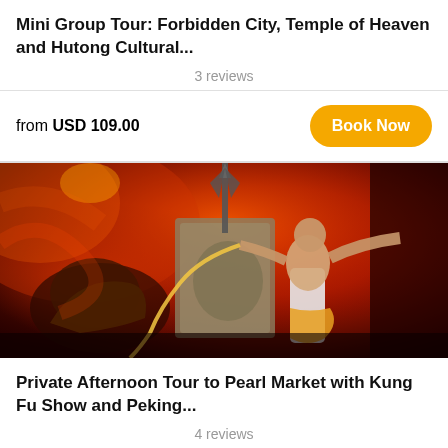Mini Group Tour: Forbidden City, Temple of Heaven and Hutong Cultural...
3 reviews
from USD 109.00
Book Now
[Figure (photo): Kung Fu performers on a dramatic stage with red and orange smoke, fire lighting, and theatrical costumes. One performer in white lunge pose wielding a long flexible weapon.]
Private Afternoon Tour to Pearl Market with Kung Fu Show and Peking...
4 reviews